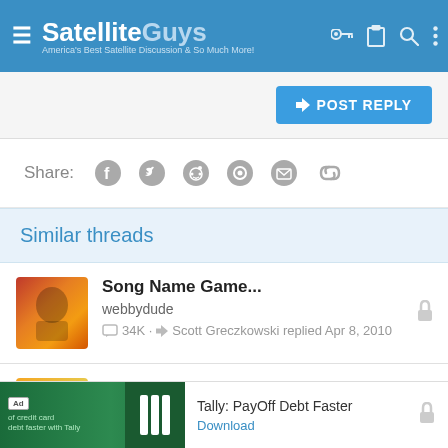SatelliteGuys - America's Best Satellite Discussion & So Much More!
POST REPLY
Share:
Similar threads
Song Name Game...
webbydude
34K · Scott Greczkowski replied Apr 8, 2010
Song Name Game (CONTINUED!)
Scott Greczkowski
7K · Scott Greczkowski replied Feb 13, 2011
Ad - Tally: PayOff Debt Faster - Download